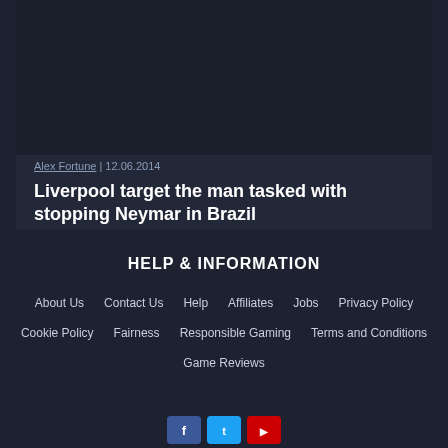[Figure (photo): Dark card with article image area at top (dark background)]
Alex Fortune | 12.06.2014
Liverpool target the man tasked with stopping Neymar in Brazil
HELP & INFORMATION
About Us
Contact Us
Help
Affiliates
Jobs
Privacy Policy
Cookie Policy
Fairness
Responsible Gaming
Terms and Conditions
Game Reviews
[Figure (other): Three social media icon buttons: blue (Facebook), blue (Twitter), red (YouTube)]